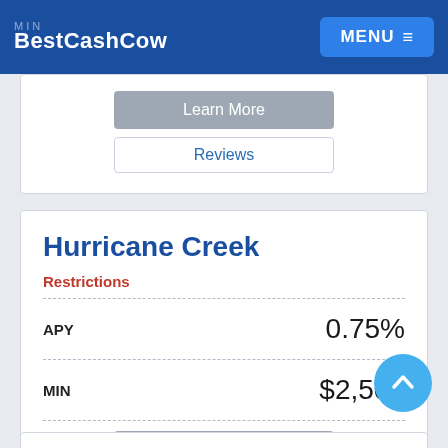BestCashCow
Learn More
Reviews
Hurricane Creek
Restrictions
| Field | Value |
| --- | --- |
| APY | 0.75% |
| MIN | $2,500 |
Learn More
Reviews